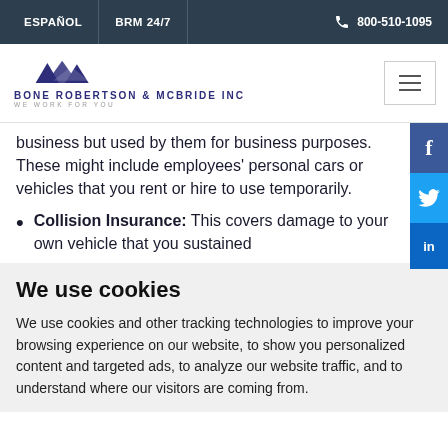ESPAÑOL | BRM 24/7 | 800-510-1095
[Figure (logo): Bone Robertson & McBride Inc logo with mountain graphic, tagline WE WORK FOR YOU]
business but used by them for business purposes. These might include employees' personal cars or vehicles that you rent or hire to use temporarily.
Collision Insurance: This covers damage to your own vehicle that you sustained
We use cookies
We use cookies and other tracking technologies to improve your browsing experience on our website, to show you personalized content and targeted ads, to analyze our website traffic, and to understand where our visitors are coming from.